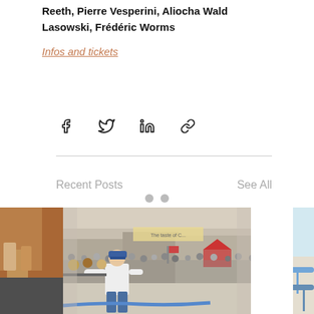Reeth, Pierre Vesperini, Aliocha Wald Lasowski, Frédéric Worms
Infos and tickets
[Figure (infographic): Social share icons: Facebook, Twitter, LinkedIn, Link/chain]
Recent Posts
See All
[Figure (photo): Three partially visible photos in a row: left shows a partial image, center shows a man in white t-shirt doing tug-of-war or pulling a rope/hose in a crowded outdoor street event with many spectators, right shows a partial beach/outdoor scene with blue umbrellas]